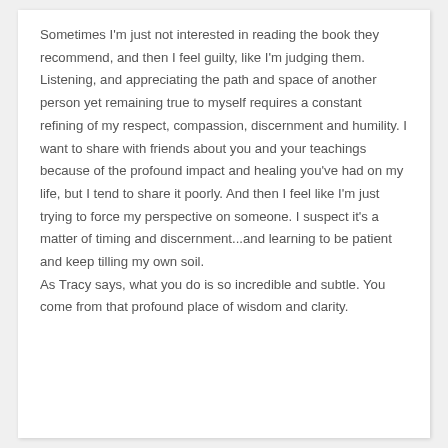Sometimes I'm just not interested in reading the book they recommend, and then I feel guilty, like I'm judging them. Listening, and appreciating the path and space of another person yet remaining true to myself requires a constant refining of my respect, compassion, discernment and humility. I want to share with friends about you and your teachings because of the profound impact and healing you've had on my life, but I tend to share it poorly. And then I feel like I'm just trying to force my perspective on someone. I suspect it's a matter of timing and discernment...and learning to be patient and keep tilling my own soil.
As Tracy says, what you do is so incredible and subtle. You come from that profound place of wisdom and clarity.